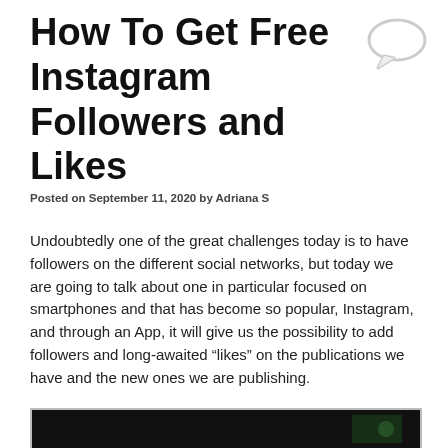How To Get Free Instagram Followers and Likes
[Figure (illustration): Speech bubble / comment icon in light gray]
Posted on September 11, 2020 by Adriana S
Undoubtedly one of the great challenges today is to have followers on the different social networks, but today we are going to talk about one in particular focused on smartphones and that has become so popular, Instagram, and through an App, it will give us the possibility to add followers and long-awaited “likes” on the publications we have and the new ones we are publishing.
[Figure (screenshot): Bottom strip showing a dark image, partially visible at the bottom of the page]